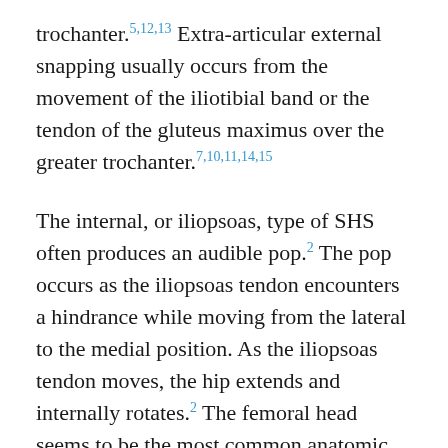trochanter.5,12,13 Extra-articular external snapping usually occurs from the movement of the iliotibial band or the tendon of the gluteus maximus over the greater trochanter.7,10,11,14,15
The internal, or iliopsoas, type of SHS often produces an audible pop.2 The pop occurs as the iliopsoas tendon encounters a hindrance while moving from the lateral to the medial position. As the iliopsoas tendon moves, the hip extends and internally rotates.2 The femoral head seems to be the most common anatomic structure that hinders the iliopsoas tendon.1 The femoral head engages in a complex interplay with the iliacus muscle